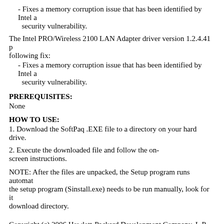- Fixes a memory corruption issue that has been identified by Intel as a security vulnerability.
The Intel PRO/Wireless 2100 LAN Adapter driver version 1.2.4.41 provides the following fix:
- Fixes a memory corruption issue that has been identified by Intel as a security vulnerability.
PREREQUISITES:
None
HOW TO USE:
1. Download the SoftPaq .EXE file to a directory on your hard drive.
2. Execute the downloaded file and follow the on-screen instructions.
NOTE: After the files are unpacked, the Setup program runs automatically. If the setup program (Sinstall.exe) needs to be run manually, look for it in the download directory.
Copyright (c) 2006 Hewlett-Packard Development Company, L.P.